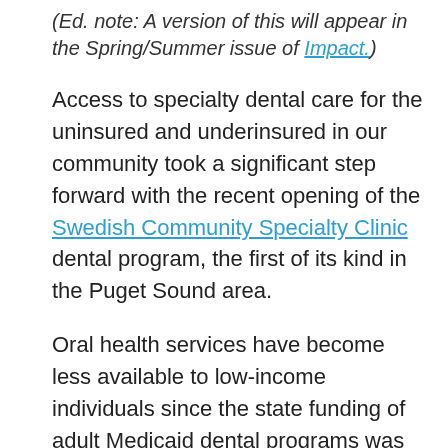(Ed. note: A version of this will appear in the Spring/Summer issue of Impact.)
Access to specialty dental care for the uninsured and underinsured in our community took a significant step forward with the recent opening of the Swedish Community Specialty Clinic dental program, the first of its kind in the Puget Sound area.
Oral health services have become less available to low-income individuals since the state funding of adult Medicaid dental programs was cut in January, 2011. The funding cuts have also affected dental-care access for developmentally disabled and